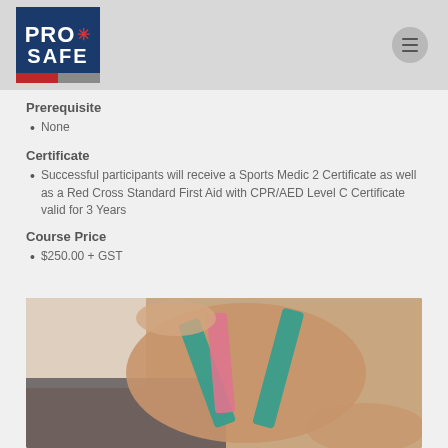[Figure (logo): ProSafe logo with red star of life and red/gray bar at bottom]
Prerequisite
None
Certificate
Successful participants will receive a Sports Medic 2 Certificate as well as a Red Cross Standard First Aid with CPR/AED Level C Certificate valid for 3 Years
Course Price
$250.00 + GST
[Figure (photo): Close-up photo of a person's knee with pink and teal kinesiology tape applied, being treated by a practitioner in a white coat]